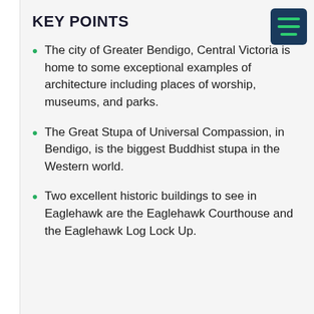KEY POINTS
The city of Greater Bendigo, Central Victoria is home to some exceptional examples of architecture including places of worship, museums, and parks.
The Great Stupa of Universal Compassion, in Bendigo, is the biggest Buddhist stupa in the Western world.
Two excellent historic buildings to see in Eaglehawk are the Eaglehawk Courthouse and the Eaglehawk Log Lock Up.